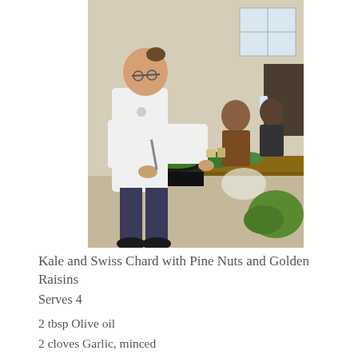[Figure (photo): A chef in a white coat cooking greens in a pan on a portable stove on a wooden table, with various vegetables and ingredients around, and two people seated in the background watching.]
Kale and Swiss Chard with Pine Nuts and Golden Raisins
Serves 4
2 tbsp Olive oil
2 cloves Garlic, minced